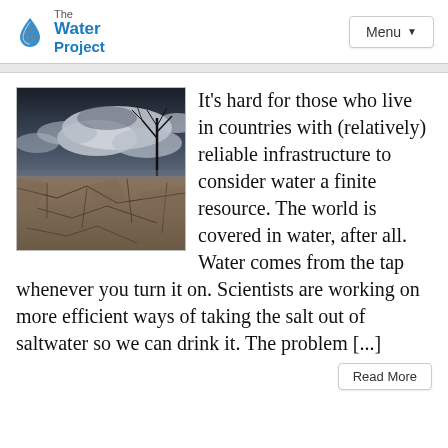The Water Project | Menu
[Figure (photo): Cracked dry earth landscape with dramatic cloudy sky and bare tree branches, depicting drought conditions.]
It’s hard for those who live in countries with (relatively) reliable infrastructure to consider water a finite resource. The world is covered in water, after all. Water comes from the tap whenever you turn it on. Scientists are working on more efficient ways of taking the salt out of saltwater so we can drink it. The problem [...]
Read More